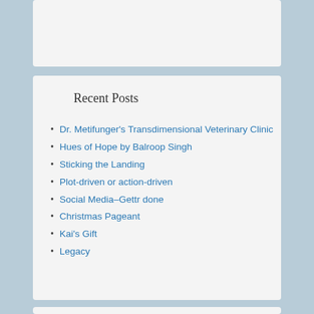Recent Posts
Dr. Metifunger's Transdimensional Veterinary Clinic
Hues of Hope by Balroop Singh
Sticking the Landing
Plot-driven or action-driven
Social Media–Gettr done
Christmas Pageant
Kai's Gift
Legacy